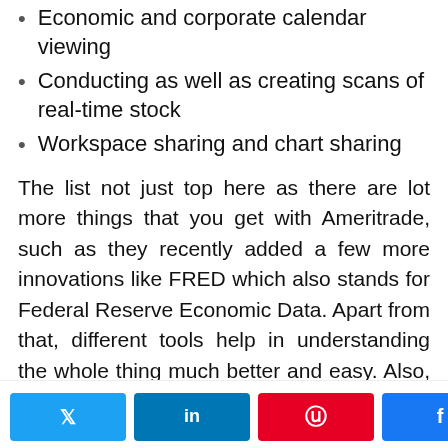Economic and corporate calendar viewing
Conducting as well as creating scans of real-time stock
Workspace sharing and chart sharing
The list not just top here as there are lot more things that you get with Ameritrade, such as they recently added a few more innovations like FRED which also stands for Federal Reserve Economic Data. Apart from that, different tools help in understanding the whole thing much better and easy. Also, it improves the interface so the people can understand it easily.
Fees and commissions:
[Figure (infographic): Social sharing bar with Twitter, LinkedIn, Pinterest, and Facebook buttons, and a share count showing 0 SHARES]